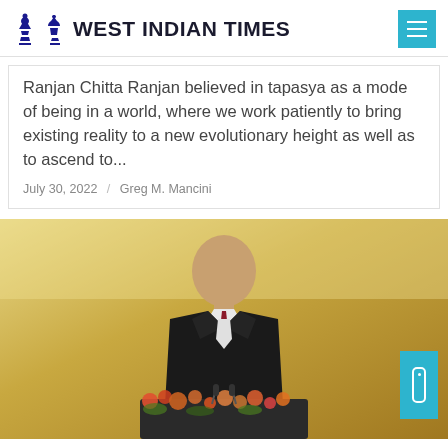West Indian Times
Ranjan Chitta Ranjan believed in tapasya as a mode of being in a world, where we work patiently to bring existing reality to a new evolutionary height as well as to ascend to...
July 30, 2022 / Greg M. Mancini
[Figure (photo): A man in a dark suit with a red tie speaking at a podium with floral arrangements in front, against a golden/yellow background]